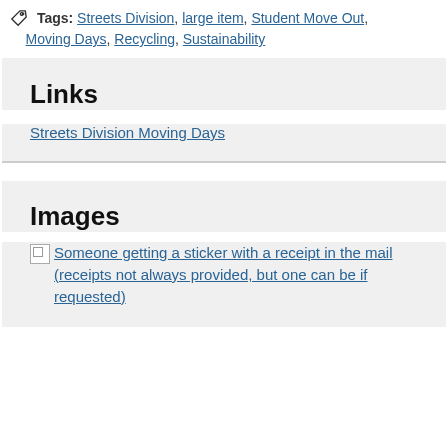Tags: Streets Division, large item, Student Move Out, Moving Days, Recycling, Sustainability
Links
Streets Division Moving Days
Images
[Figure (photo): Someone getting a sticker with a receipt in the mail (receipts not always provided, but one can be if requested)]